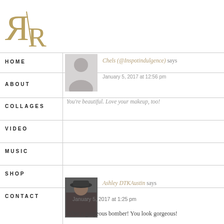[Figure (logo): Stylized R/R logo in gold/tan with serif letterforms on white background]
HOME
ABOUT
COLLAGES
VIDEO
MUSIC
SHOP
CONTACT
Chels (@Inspotindulgence) says
January 5, 2017 at 12:56 pm
You're beautiful. Love your makeup, too!
Ashley DTKAustin says
January 5, 2017 at 1:25 pm
What a gorgeous bomber! You look gorgeous!